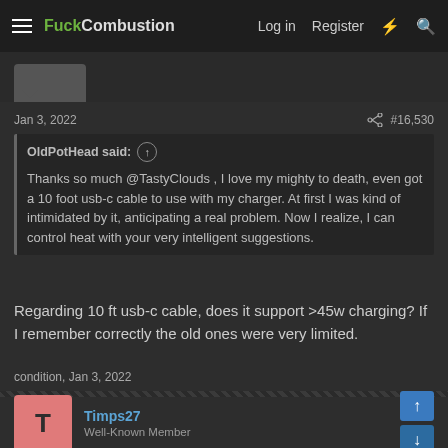FuckCombustion Log in Register
Jan 3, 2022 #16,530
OldPotHead said: ↑ Thanks so much @TastyClouds , I love my mighty to death, even got a 10 foot usb-c cable to use with my charger. At first I was kind of intimidated by it, anticipating a real problem. Now I realize, I can control heat with your very intelligent suggestions.
Regarding 10 ft usb-c cable, does it support >45w charging? If I remember correctly the old ones were very limited.
condition, Jan 3, 2022
Timps27 Well-Known Member
Jan 3, 2022 #16,531